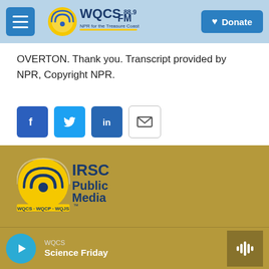[Figure (logo): WQCS 88.9 FM NPR for the Treasure Coast website header with menu button, logo, and Donate button]
OVERTON. Thank you. Transcript provided by NPR, Copyright NPR.
[Figure (infographic): Social share buttons: Facebook, Twitter, LinkedIn, Email]
[Figure (logo): IRSC Public Media logo with WQCS · WQCP · WQJS tagline on gold background]
[Figure (infographic): Audio player bar showing WQCS station and Science Friday program with play button and waveform icon]